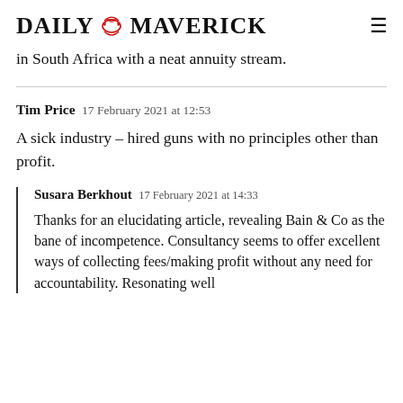DAILY MAVERICK
in South Africa with a neat annuity stream.
Tim Price  17 February 2021 at 12:53
A sick industry – hired guns with no principles other than profit.
Susara Berkhout  17 February 2021 at 14:33
Thanks for an elucidating article, revealing Bain & Co as the bane of incompetence. Consultancy seems to offer excellent ways of collecting fees/making profit without any need for accountability. Resonating well